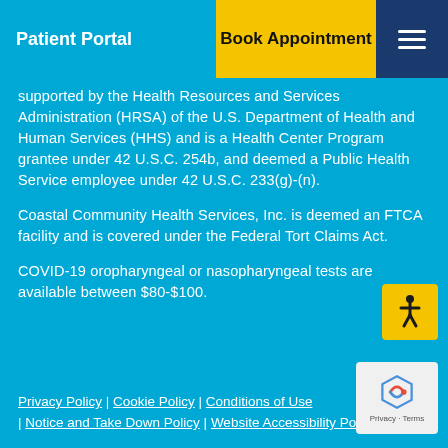Patient Portal | Book Appointment
supported by the Health Resources and Services Administration (HRSA) of the U.S. Department of Health and Human Services (HHS) and is a Health Center Program grantee under 42 U.S.C. 254b, and deemed a Public Health Service employee under 42 U.S.C. 233(g)-(n).
Coastal Community Health Services, Inc. is deemed an FTCA facility and is covered under the Federal Tort Claims Act.
COVID-19 oropharyngeal or nasopharyngeal tests are available between $80-$100.
Privacy Policy | Cookie Policy | Conditions of Use | Notice and Take Down Policy | Website Accessibility Policy